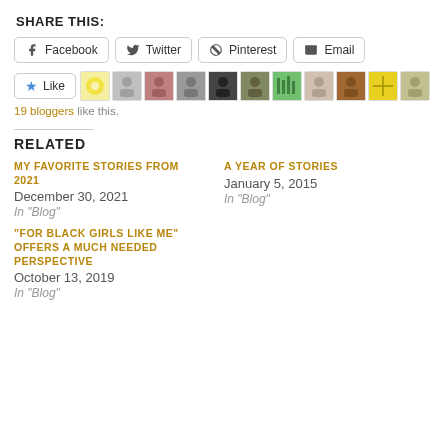SHARE THIS:
Facebook | Twitter | Pinterest | Email
[Figure (other): Like button with 19 blogger avatars]
19 bloggers like this.
RELATED
MY FAVORITE STORIES FROM 2021 - December 30, 2021 - In 'Blog'
A YEAR OF STORIES - January 5, 2015 - In 'Blog'
"FOR BLACK GIRLS LIKE ME" OFFERS A MUCH NEEDED PERSPECTIVE - October 13, 2019 - In 'Blog'